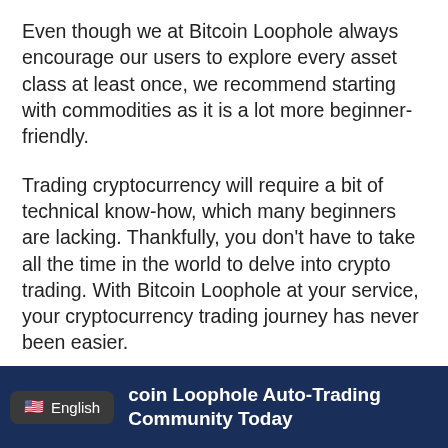Even though we at Bitcoin Loophole always encourage our users to explore every asset class at least once, we recommend starting with commodities as it is a lot more beginner-friendly.
Trading cryptocurrency will require a bit of technical know-how, which many beginners are lacking. Thankfully, you don't have to take all the time in the world to delve into crypto trading. With Bitcoin Loophole at your service, your cryptocurrency trading journey has never been easier.
Using our brilliant platform will automatically set you up for success.
English  coin Loophole Auto-Trading Community Today